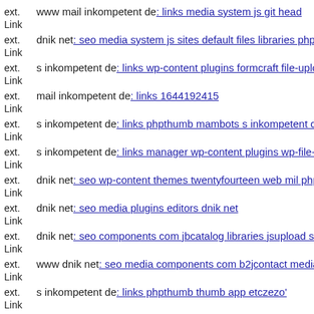ext. Link www mail inkompetent de: links media system js git head
ext. Link dnik net: seo media system js sites default files libraries phpthumb
ext. Link s inkompetent de: links wp-content plugins formcraft file-upload
ext. Link mail inkompetent de: links 1644192415
ext. Link s inkompetent de: links phpthumb mambots s inkompetent de
ext. Link s inkompetent de: links manager wp-content plugins wp-file-m
ext. Link dnik net: seo wp-content themes twentyfourteen web mil php
ext. Link dnik net: seo media plugins editors dnik net
ext. Link dnik net: seo components com jbcatalog libraries jsupload serv
ext. Link www dnik net: seo media components com b2jcontact media in
ext. Link s inkompetent de: links phpthumb thumb app etczezo'